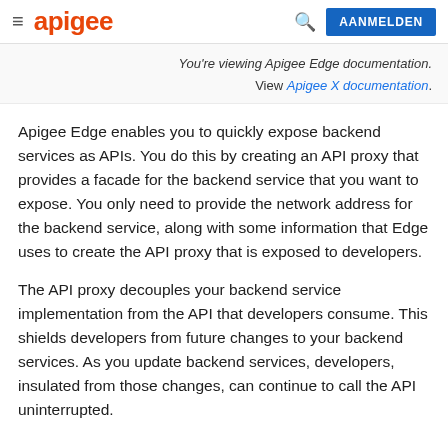apigee  AANMELDEN
You're viewing Apigee Edge documentation. View Apigee X documentation.
Apigee Edge enables you to quickly expose backend services as APIs. You do this by creating an API proxy that provides a facade for the backend service that you want to expose. You only need to provide the network address for the backend service, along with some information that Edge uses to create the API proxy that is exposed to developers.
The API proxy decouples your backend service implementation from the API that developers consume. This shields developers from future changes to your backend services. As you update backend services, developers, insulated from those changes, can continue to call the API uninterrupted.